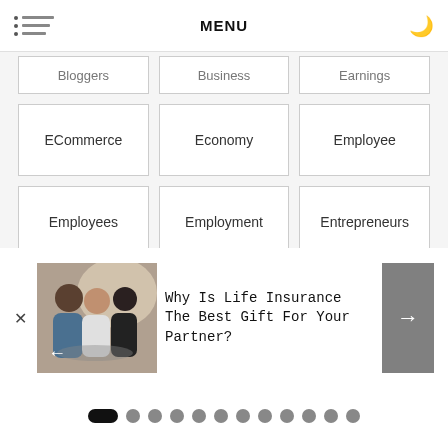MENU
Bloggers
Business
Earnings
ECommerce
Economy
Employee
Employees
Employment
Entrepreneurs
Everything
Evolve In 2019
[Figure (photo): People in a business meeting or consultation, promotional image for insurance article]
Why Is Life Insurance The Best Gift For Your Partner?